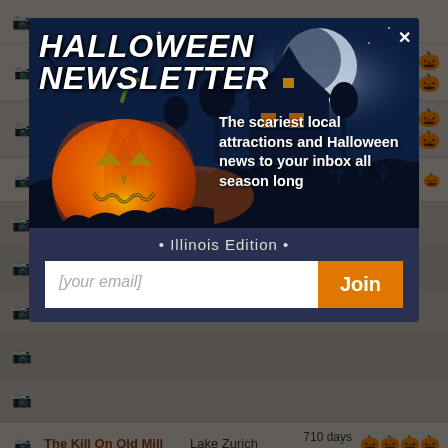Insanity Haunted House | Saint Charles | 5 days ago | 🎃🎃🎃🎃🎃
Death Toll: A Drinking Game | Chicago | 7 days ago | 🎃🎃🎃🎃🎃
[Figure (screenshot): Halloween Newsletter popup modal with jack-o-lantern, haunted house background, Illinois Edition email signup form]
The Kill On Old Mill | Lake Zurich | 710 days ago | 🎃🎃🎃🎃
Windy City Ghosts | Chicago | 225 days ago | 🎃🎃🎃🎃
St. Charles Scarecrow Fest | Saint Charles | 6 days ago | Rate Now!